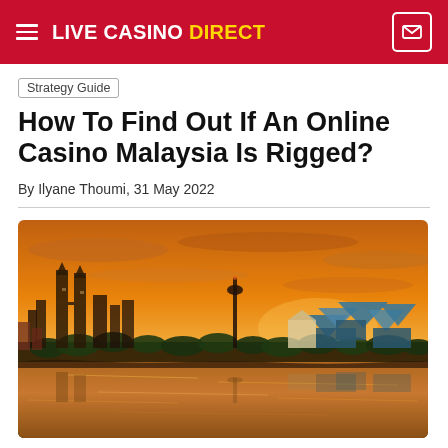LIVE CASINO DIRECT
Strategy Guide
How To Find Out If An Online Casino Malaysia Is Rigged?
By Ilyane Thoumi, 31 May 2022
[Figure (photo): Aerial/waterfront cityscape of Kuala Lumpur, Malaysia at sunset/dusk with orange sky, tall twin towers on the left, distinctive pointed-roof architecture buildings on the right, all reflected in a calm lake in the foreground.]